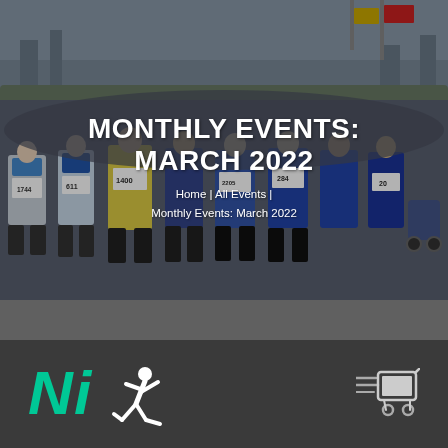[Figure (photo): Crowd of runners at the start of a road race, wearing numbered bibs including 1744, 611, 1400, 284, 20. Overcast day, road setting.]
MONTHLY EVENTS: MARCH 2022
Home | All Events | Monthly Events: March 2022
[Figure (logo): NI Running logo: teal N and i letters with white running figure icon]
[Figure (logo): Shopping cart icon in white/light color on dark background]